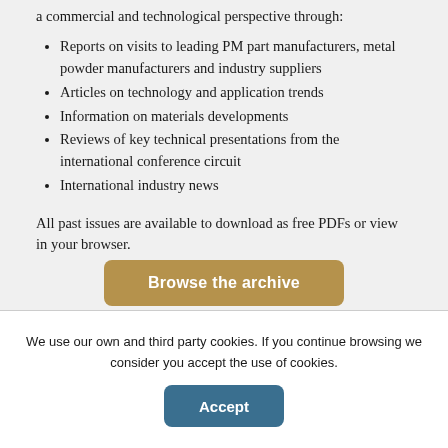a commercial and technological perspective through:
Reports on visits to leading PM part manufacturers, metal powder manufacturers and industry suppliers
Articles on technology and application trends
Information on materials developments
Reviews of key technical presentations from the international conference circuit
International industry news
All past issues are available to download as free PDFs or view in your browser.
[Figure (other): Browse the archive button — a rounded gold/tan colored button with white bold text reading 'Browse the archive']
We use our own and third party cookies. If you continue browsing we consider you accept the use of cookies.
[Figure (other): Accept button — a rounded dark blue button with white bold text reading 'Accept']